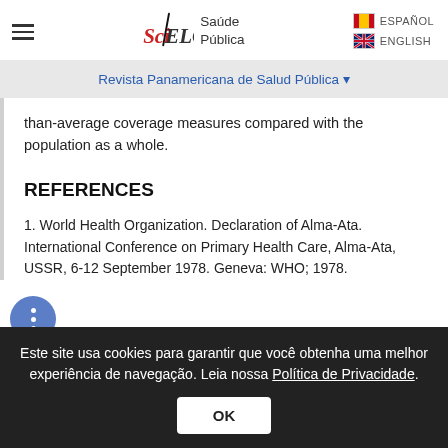SciELO Saúde Pública | ESPAÑOL | ENGLISH
Revista Panamericana de Salud Pública
than-average coverage measures compared with the population as a whole.
REFERENCES
1. World Health Organization. Declaration of Alma-Ata. International Conference on Primary Health Care, Alma-Ata, USSR, 6-12 September 1978. Geneva: WHO; 1978.
Este site usa cookies para garantir que você obtenha uma melhor experiência de navegação. Leia nossa Política de Privacidade.